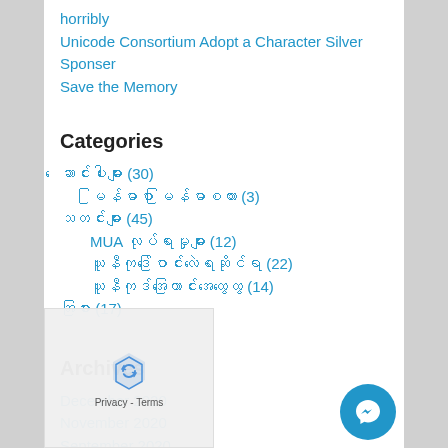horribly
Unicode Consortium Adopt a Character Silver Sponser
Save the Memory
Categories
ဆောင်းပါးများ (30)
မြန်မာစာ မြန်မာစကား (3)
သတင်းများ (45)
MUA လုပ်ရားမှုများ (12)
ယူနီကုဒ်ပြောင်းလဲရေးဆိုင်ရာ (22)
ယူနီကုဒ်အကြောင်းအထွေထွေ (14)
အခြား (17)
Archives
December 2020
November 2020
September 2020